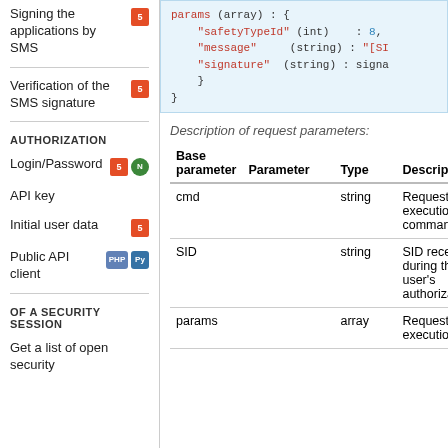Signing the applications by SMS
Verification of the SMS signature
AUTHORIZATION
Login/Password
API key
Initial user data
Public API client
OF A SECURITY SESSION
Get a list of open security
[Figure (screenshot): Code block showing params array with safetyTypeId (int): 8, message (string): "[SI...", signature (string): signa...]
Description of request parameters:
| Base parameter | Parameter | Type | Description |
| --- | --- | --- | --- |
| cmd |  | string | Request execution command |
| SID |  | string | SID received during the user's authorization |
| params |  | array | Request execution |